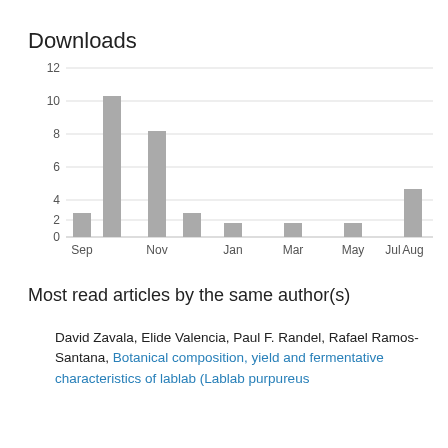Downloads
[Figure (bar-chart): Downloads]
Most read articles by the same author(s)
David Zavala, Elide Valencia, Paul F. Randel, Rafael Ramos-Santana, Botanical composition, yield and fermentative characteristics of lablab (Lablab purpureus